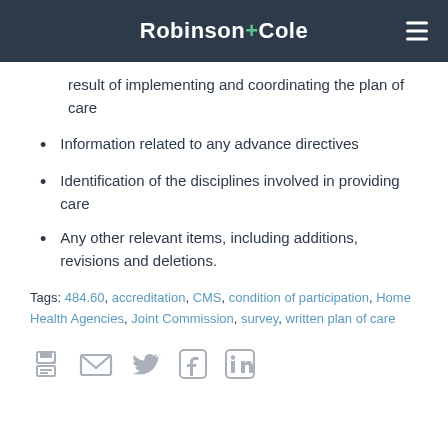Robinson+Cole
result of implementing and coordinating the plan of care
Information related to any advance directives
Identification of the disciplines involved in providing care
Any other relevant items, including additions, revisions and deletions.
Tags: 484.60, accreditation, CMS, condition of participation, Home Health Agencies, Joint Commission, survey, written plan of care
[Figure (infographic): Social sharing icons: print, email, Twitter, Facebook, LinkedIn]